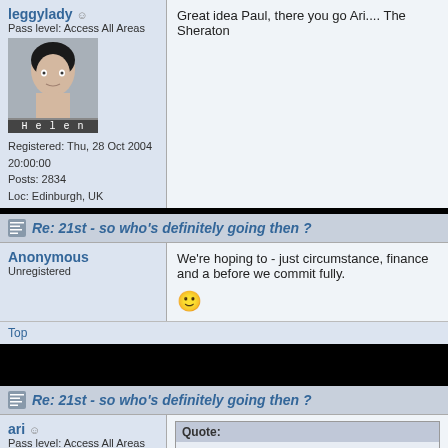leggylady — Pass level: Access All Areas
Registered: Thu, 28 Oct 2004 20:00:00
Posts: 2834
Loc: Edinburgh, UK
Great idea Paul, there you go Ari.... The Sheraton
Top
Re: 21st - so who's definitely going then ?
Anonymous
Unregistered
We're hoping to - just circumstance, finance and a before we commit fully.
Top
Re: 21st - so who's definitely going then ?
ari — Pass level: Access All Areas
Quote:
Originally posted by Paul Chaplow:
I'm booked into the Sheraton provision cameras in my room.
Thanks m8. That would be so exellent if I could dr